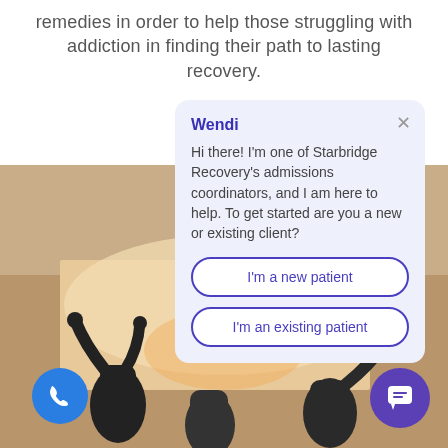remedies in order to help those struggling with addiction in finding their path to lasting recovery.
[Figure (screenshot): Chat popup widget from Starbridge Recovery website showing an admissions coordinator named Wendi offering help with two buttons: 'I'm a new patient' and 'I'm an existing patient']
[Figure (photo): Background photo of silhouetted people raising their hands at sunset, with a tan/beige background above]